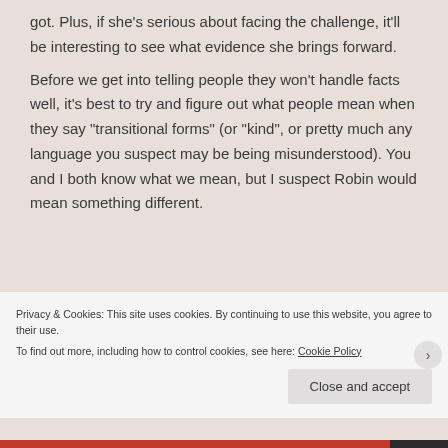got. Plus, if she's serious about facing the challenge, it'll be interesting to see what evidence she brings forward.
Before we get into telling people they won't handle facts well, it's best to try and figure out what people mean when they say "transitional forms" (or "kind", or pretty much any language you suspect may be being misunderstood). You and I both know what we mean, but I suspect Robin would mean something different.
Privacy & Cookies: This site uses cookies. By continuing to use this website, you agree to their use.
To find out more, including how to control cookies, see here: Cookie Policy